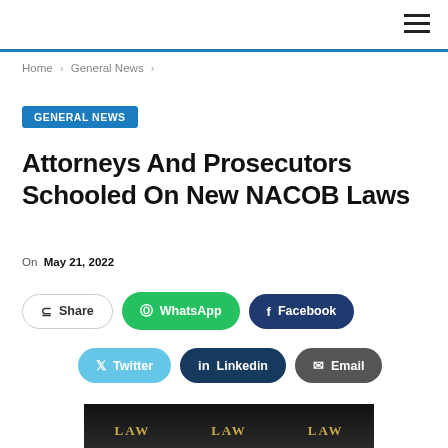Home > General News >
GENERAL NEWS
Attorneys And Prosecutors Schooled On New NACOB Laws
On May 21, 2022
Share | WhatsApp | Facebook | Twitter | Linkedin | Email
[Figure (photo): Law books with gold lettering spelling LAW on dark background]